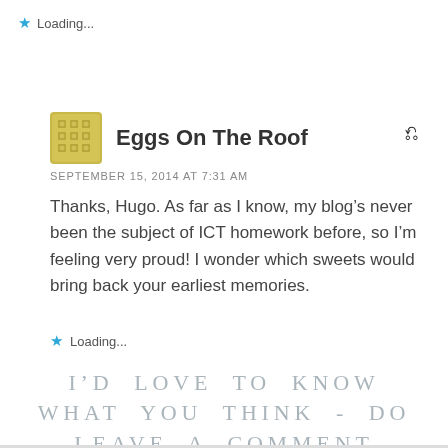Loading...
Eggs On The Roof
SEPTEMBER 15, 2014 AT 7:31 AM
Thanks, Hugo. As far as I know, my blog’s never been the subject of ICT homework before, so I’m feeling very proud! I wonder which sweets would bring back your earliest memories.
Loading...
I'D LOVE TO KNOW WHAT YOU THINK - DO LEAVE A COMMENT